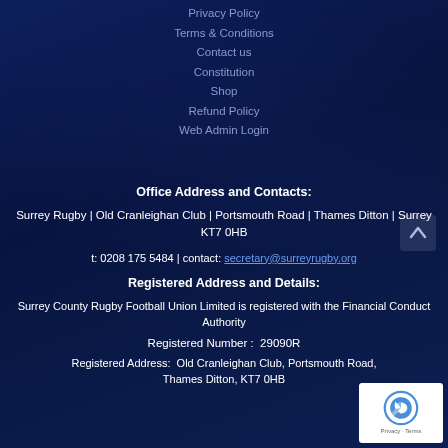Privacy Policy
Terms & Conditions
Contact us
Constitution
Shop
Refund Policy
Web Admin Login
Office Address and Contacts:
Surrey Rugby | Old Cranleighan Club | Portsmouth Road | Thames Ditton | Surrey KT7 0HB
t: 0208 175 5484 | contact: secretary@surreyrugby.org
Registered Address and Details:
Surrey County Rugby Football Union Limited is registered with the Financial Conduct Authority
Registered Number :  29090R
Registered Address:  Old Cranleighan Club, Portsmouth Road, Thames Ditton, KT7 0HB